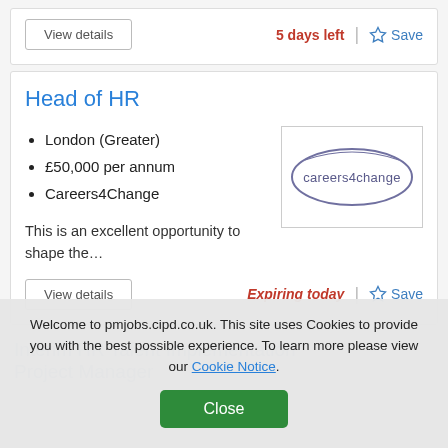View details | 5 days left | Save
Head of HR
London (Greater)
£50,000 per annum
Careers4Change
[Figure (logo): careers4change company logo, oval shape with text]
This is an excellent opportunity to shape the…
View details | Expiring today | Save
Interim HR Talent Implementation Project Manager
Welcome to pmjobs.cipd.co.uk. This site uses Cookies to provide you with the best possible experience. To learn more please view our Cookie Notice.
Close